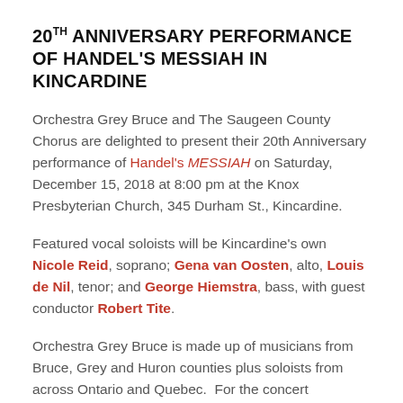20TH ANNIVERSARY PERFORMANCE OF HANDEL'S MESSIAH IN KINCARDINE
Orchestra Grey Bruce and The Saugeen County Chorus are delighted to present their 20th Anniversary performance of Handel's MESSIAH on Saturday, December 15, 2018 at 8:00 pm at the Knox Presbyterian Church, 345 Durham St., Kincardine.
Featured vocal soloists will be Kincardine's own Nicole Reid, soprano; Gena van Oosten, alto, Louis de Nil, tenor; and George Hiemstra, bass, with guest conductor Robert Tite.
Orchestra Grey Bruce is made up of musicians from Bruce, Grey and Huron counties plus soloists from across Ontario and Quebec. For the concert December 15 the Orchestra will include soloists Jeremy Potts and